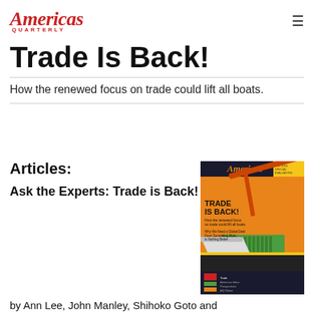Americas Quarterly
Trade Is Back!
How the renewed focus on trade could lift all boats.
Articles:
Ask the Experts: Trade is Back!
[Figure (illustration): Magazine cover of Americas Quarterly featuring the Trade Is Back! issue with an illustration of shipping containers and cranes on an orange background.]
by Ann Lee, John Manley, Shihoko Goto and